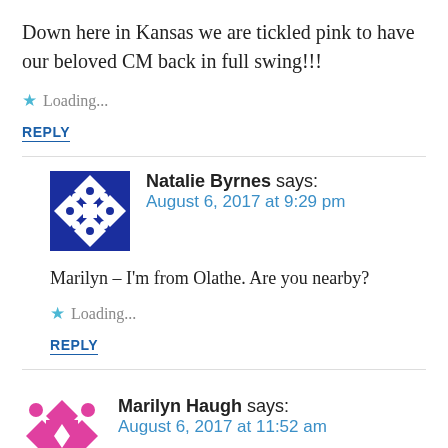Down here in Kansas we are tickled pink to have our beloved CM back in full swing!!!
Loading...
REPLY
Natalie Byrnes says: August 6, 2017 at 9:29 pm
Marilyn – I'm from Olathe. Are you nearby?
Loading...
REPLY
Marilyn Haugh says: August 6, 2017 at 11:52 am